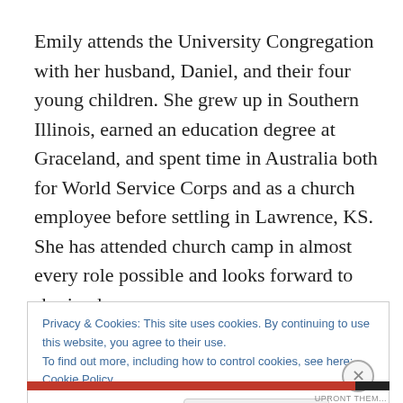Emily attends the University Congregation with her husband, Daniel, and their four young children. She grew up in Southern Illinois, earned an education degree at Graceland, and spent time in Australia both for World Service Corps and as a church employee before settling in Lawrence, KS. She has attended church camp in almost every role possible and looks forward to sharing her
Privacy & Cookies: This site uses cookies. By continuing to use this website, you agree to their use.
To find out more, including how to control cookies, see here: Cookie Policy
Close and accept